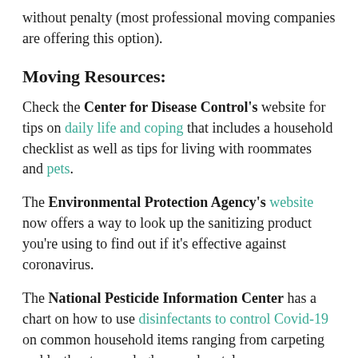without penalty (most professional moving companies are offering this option).
Moving Resources:
Check the Center for Disease Control's website for tips on daily life and coping that includes a household checklist as well as tips for living with roommates and pets.
The Environmental Protection Agency's website now offers a way to look up the sanitizing product you’re using to find out if it’s effective against coronavirus.
The National Pesticide Information Center has a chart on how to use disinfectants to control Covid-19 on common household items ranging from carpeting and leather to wood, glass, and metal.
Find out what your state city’s local public health